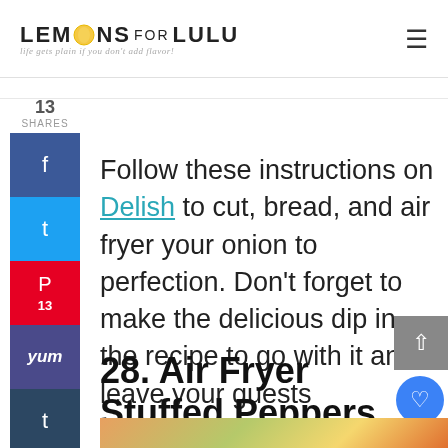LEMONS FOR LULU — life gets plain if you don't add flavor!
Follow these instructions on Delish to cut, bread, and air fryer your onion to perfection. Don't forget to make the delicious dip in the recipe to go with it and leave your guests wondering how you made such an amazing restaurant-quality dish at home.
28. Air Fryer Stuffed Peppers
[Figure (photo): Partial bottom strip showing food image for Air Fryer Stuffed Peppers]